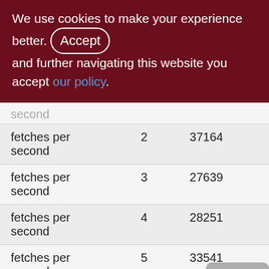We use cookies to make your experience better. By accepting and further navigating this website you accept our policy.
| fetches per second | 2 | 37164 |
| fetches per second | 3 | 27639 |
| fetches per second | 4 | 28251 |
| fetches per second | 5 | 33541 |
| fetches per second | 6 | 28604 |